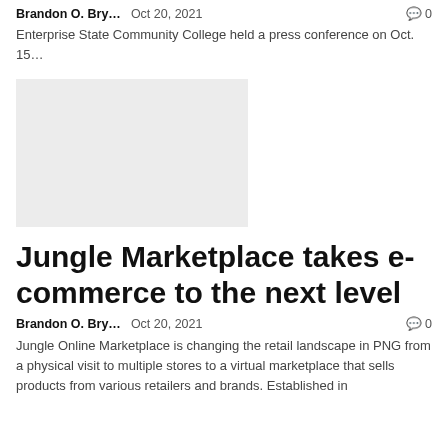Brandon O. Bry...   Oct 20, 2021   💬 0
Enterprise State Community College held a press conference on Oct. 15…
[Figure (photo): Gray placeholder image rectangle]
Jungle Marketplace takes e-commerce to the next level
Brandon O. Bry...   Oct 20, 2021   💬 0
Jungle Online Marketplace is changing the retail landscape in PNG from a physical visit to multiple stores to a virtual marketplace that sells products from various retailers and brands. Established in